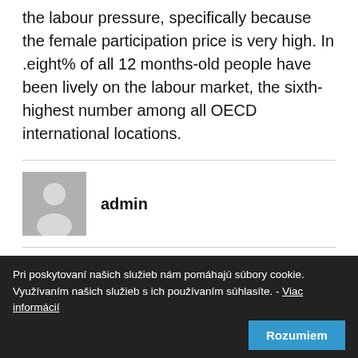the labour pressure, specifically because the female participation price is very high. In .eight% of all 12 months-old people have been lively on the labour market, the sixth-highest number among all OECD international locations.
[Figure (illustration): Grey avatar/user silhouette icon representing the admin author]
admin
Podobné články
Pri poskytovaní našich služieb nám pomáhajú súbory cookie. Využívaním našich služieb s ich používaním súhlasíte. - Viac informácií
Rozumiem